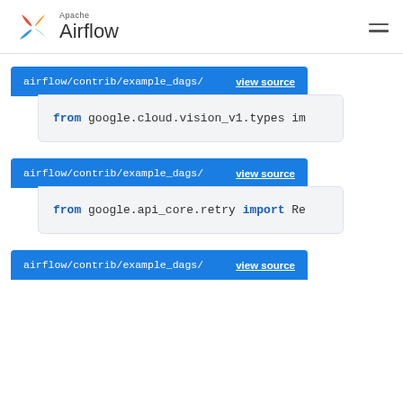Apache Airflow
[Figure (screenshot): Code block 1: airflow/contrib/example_dags/ with view source link, showing: from google.cloud.vision_v1.types im]
[Figure (screenshot): Code block 2: airflow/contrib/example_dags/ with view source link, showing: from google.api_core.retry import Re]
[Figure (screenshot): Code block 3: airflow/contrib/example_dags/ with view source link (partially visible)]